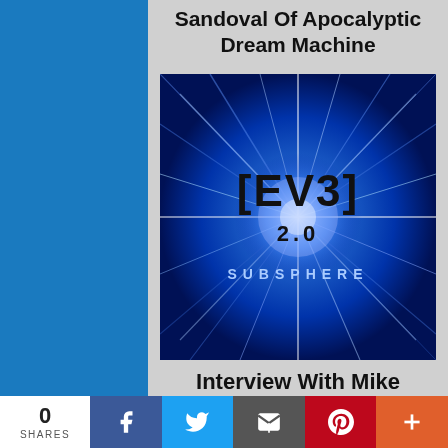Sandoval Of Apocalyptic Dream Machine
[Figure (illustration): Album cover art for EVE 2.0 Subsphere - dark blue exploding light rays with EVE 2.0 logo and SUBSPHERE text]
Interview With Mike Hoffman Of Level 2.0
0 SHARES | Facebook | Twitter | Email | Pinterest | More